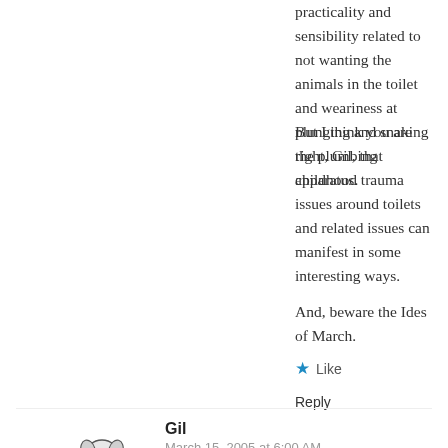practicality and sensibility related to not wanting the animals in the toilet and weariness at plunging and snaking the plumbing apparatus.
But I think you are right, Gil, that childhood trauma issues around toilets and related issues can manifest in some interesting ways.
And, beware the Ides of March.
★ Like
Reply
[Figure (illustration): Avatar image of a dog or animal figure, black and white sketch]
Gil
March 15, 2005 at 6:00 AM
Yeah, I think I have a slight preference